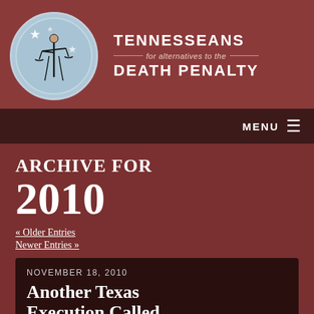[Figure (logo): Tennesseans for Alternatives to the Death Penalty logo — circular badge with Lady Justice figure on blue-grey background, and organization name text beside it]
MENU
ARCHIVE FOR 2010
« Older Entries
Newer Entries »
NOVEMBER 18, 2010
Another Texas Execution Called